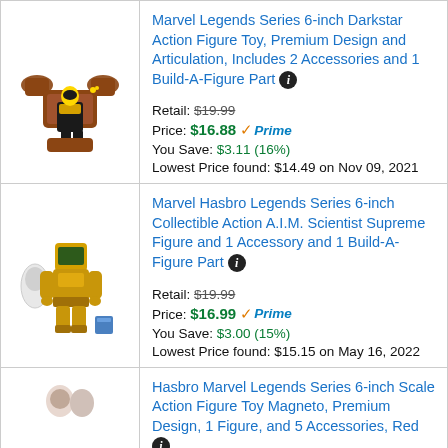| Image | Product / Price |
| --- | --- |
| [Darkstar figure image] | Marvel Legends Series 6-inch Darkstar Action Figure Toy, Premium Design and Articulation, Includes 2 Accessories and 1 Build-A-Figure Part
Retail: $19.99
Price: $16.88 (Prime)
You Save: $3.11 (16%)
Lowest Price found: $14.49 on Nov 09, 2021 |
| [A.I.M. Scientist figure image] | Marvel Hasbro Legends Series 6-inch Collectible Action A.I.M. Scientist Supreme Figure and 1 Accessory and 1 Build-A-Figure Part
Retail: $19.99
Price: $16.99 (Prime)
You Save: $3.00 (15%)
Lowest Price found: $15.15 on May 16, 2022 |
| [Magneto figure image] | Hasbro Marvel Legends Series 6-inch Scale Action Figure Toy Magneto, Premium Design, 1 Figure, and 5 Accessories, Red... |